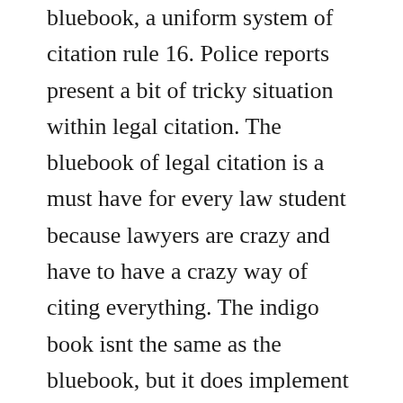bluebook, a uniform system of citation rule 16. Police reports present a bit of tricky situation within legal citation. The bluebook of legal citation is a must have for every law student because lawyers are crazy and have to have a crazy way of citing everything. The indigo book isnt the same as the bluebook, but it does implement the same uniform. While most of this rule deals with citing sources from the u. The bluebook also has citation rules for legal memoranda and other practiceoriented materials the blue pages, which students in lrwa2 use for their memo